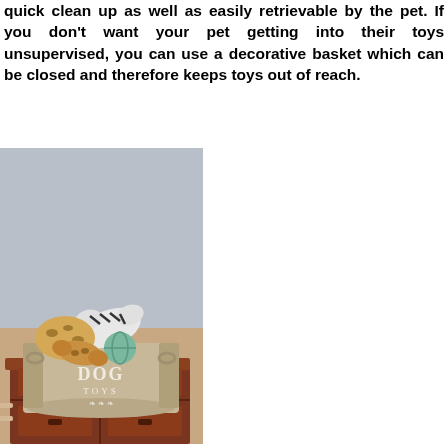quick clean up as well as easily retrievable by the pet. If you don't want your pet getting into their toys unsupervised, you can use a decorative basket which can be closed and therefore keeps toys out of reach.
[Figure (photo): A burlap canvas basket labeled 'DOG TOYS' with decorative laurel wreath, filled with animal-print stuffed dog toys (zebra and leopard print bones and balls), sitting on top of a dark wooden cabinet with small drawers.]